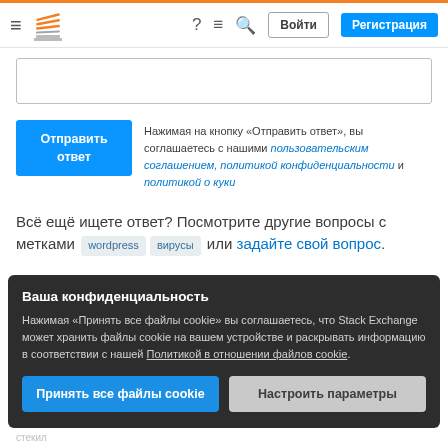[Figure (screenshot): Stack Overflow / Stack Exchange navigation bar with hamburger menu, logo, help icon, chat icon, search icon, Login button, and Sign Up (Регистрация) button]
[Figure (screenshot): Text input box for answer submission]
Нажимая на кнопку «Отправить ответ», вы соглашаетесь с нашими пользовательским соглашением, политикой конфиденциальности и политикой о куки
Всё ещё ищете ответ? Посмотрите другие вопросы с метками wordpress вирусы или задайте свой вопрос.
Ваша конфиденциальность
Нажимая «Принять все файлы cookie» вы соглашаетесь, что Stack Exchange может хранить файлы cookie на вашем устройстве и раскрывать информацию в соответствии с нашей Политикой в отношении файлов cookie.
Принять все файлы cookie
Настроить параметры